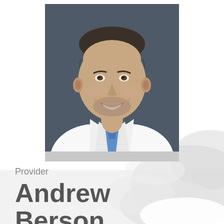[Figure (photo): Professional headshot of a smiling man with short dark hair and beard, wearing a white medical coat and blue tie, set against a dark gray background. The photo has a light gray border/frame at the bottom.]
Provider
Andrew Berson